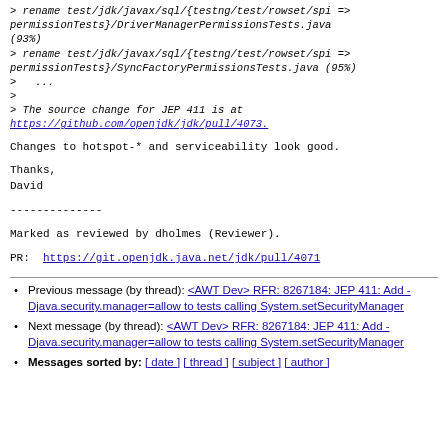> rename test/jdk/javax/sql/{testng/test/rowset/spi => permissionTests}/DriverManagerPermissionsTests.java (93%)
> rename test/jdk/javax/sql/{testng/test/rowset/spi => permissionTests}/SyncFactoryPermissionsTests.java (95%)
> ...
>
> The source change for JEP 411 is at
https://github.com/openjdk/jdk/pull/4073.
Changes to hotspot-* and serviceability look good.
Thanks,
David
--------------
Marked as reviewed by dholmes (Reviewer).
PR:  https://git.openjdk.java.net/jdk/pull/4071
Previous message (by thread): <AWT Dev> RFR: 8267184: JEP 411: Add -Djava.security.manager=allow to tests calling System.setSecurityManager
Next message (by thread): <AWT Dev> RFR: 8267184: JEP 411: Add -Djava.security.manager=allow to tests calling System.setSecurityManager
Messages sorted by: [ date ] [ thread ] [ subject ] [ author ]